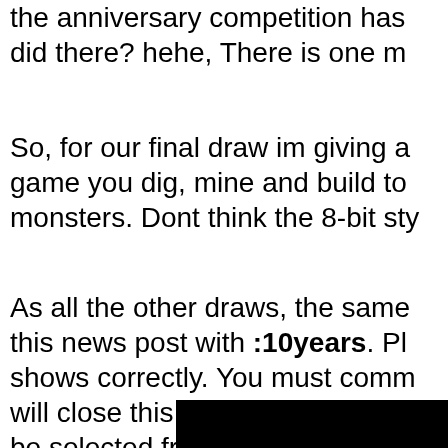the anniversary competition has did there? hehe, There is one m
So, for our final draw im giving a game you dig, mine and build to monsters. Dont think the 8-bit sty
As all the other draws, the same this news post with :10years. Pl shows correctly. You must comm will close this draw on Sunday (1 be selected from random.
[Figure (photo): Black image/screenshot at the bottom right of the page]